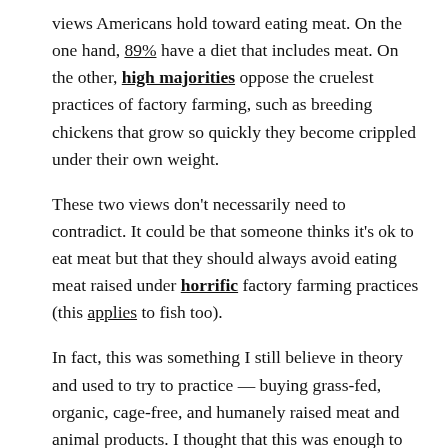views Americans hold toward eating meat. On the one hand, 89% have a diet that includes meat. On the other, high majorities oppose the cruelest practices of factory farming, such as breeding chickens that grow so quickly they become crippled under their own weight.
These two views don't necessarily need to contradict. It could be that someone thinks it's ok to eat meat but that they should always avoid eating meat raised under horrific factory farming practices (this applies to fish too).
In fact, this was something I still believe in theory and used to try to practice — buying grass-fed, organic, cage-free, and humanely raised meat and animal products. I thought that this was enough to entirely reconcile my disgust for factory farming with my desire to eat meat. But I began to realize that this was not the complete solution I had hoped for.